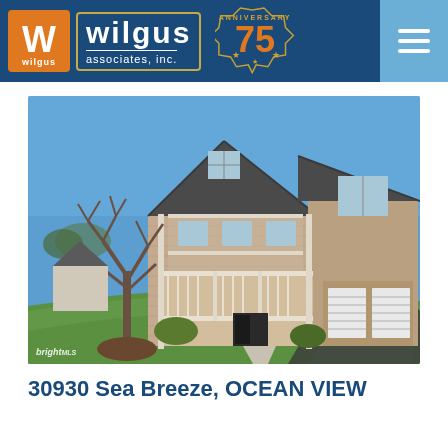[Figure (logo): Wilgus Associates, Inc. logo with 75th anniversary badge on dark blue header background with hamburger menu icon]
[Figure (photo): Two-story suburban home with tan/beige siding, front porch with white railings, two-car garage, bare tree in foreground, green lawn, clear blue sky]
30930 Sea Breeze, OCEAN VIEW